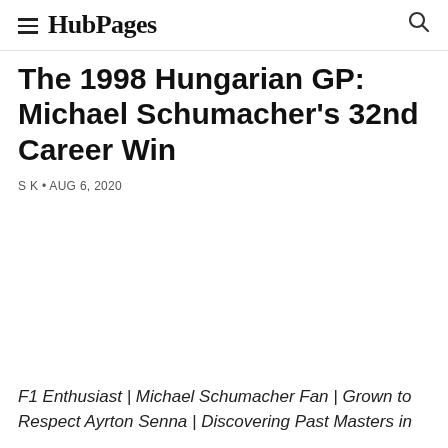HubPages
The 1998 Hungarian GP: Michael Schumacher's 32nd Career Win
S K • AUG 6, 2020
[Figure (photo): Empty white image placeholder area]
F1 Enthusiast | Michael Schumacher Fan | Grown to Respect Ayrton Senna | Discovering Past Masters in